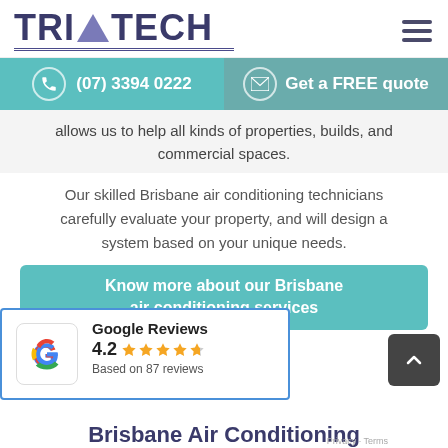TRI TECH logo and hamburger menu
(07) 3394 0222
Get a FREE quote
allows us to help all kinds of properties, builds, and commercial spaces.
Our skilled Brisbane air conditioning technicians carefully evaluate your property, and will design a system based on your unique needs.
Know more about our Brisbane air conditioning services
Google Reviews 4.2 Based on 87 reviews
Brisbane Air Conditioning